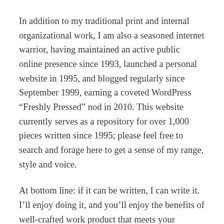In addition to my traditional print and internal organizational work, I am also a seasoned internet warrior, having maintained an active public online presence since 1993, launched a personal website in 1995, and blogged regularly since September 1999, earning a coveted WordPress “Freshly Pressed” nod in 2010. This website currently serves as a repository for over 1,000 pieces written since 1995; please feel free to search and forage here to get a sense of my range, style and voice.
At bottom line: if it can be written, I can write it. I’ll enjoy doing it, and you’ll enjoy the benefits of well-crafted work product that meets your specifications and exceeds your expectations. I am available for writing projects under retainer, day rate, hourly, per-word or